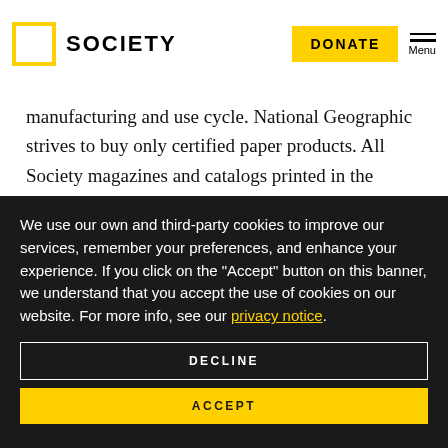SOCIETY | DONATE | Menu
manufacturing and use cycle. National Geographic strives to buy only certified paper products. All Society magazines and catalogs printed in the United States are printed on 100% PEFC-certified
We use our own and third-party cookies to improve our services, remember your preferences, and enhance your experience. If you click on the "Accept" button on this banner, we understand that you accept the use of cookies on our website. For more info, see our privacy notice.
DECLINE
ACCEPT